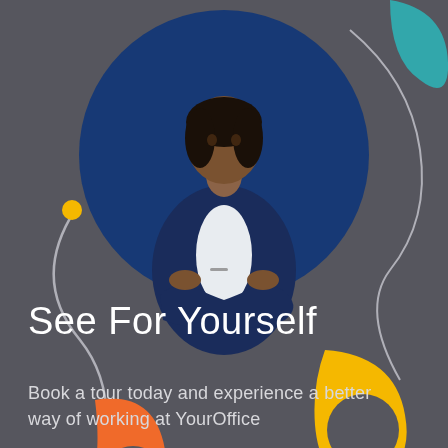[Figure (illustration): Decorative marketing illustration with a professional woman in a navy blazer with crossed arms holding glasses, set against a dark blue circle. Orange and yellow teardrop/letter shapes, teal abstract shape top right, and curving abstract line decorations on a dark gray background.]
See For Yourself
Book a tour today and experience a better way of working at YourOffice